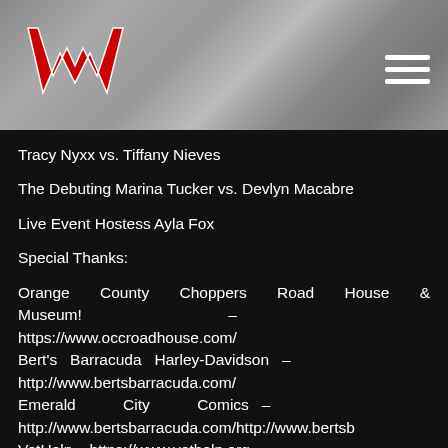[Figure (logo): Red stylized W logo on metallic grey header with hamburger menu icon]
Tracy Nyxx vs. Tiffany Nieves
The Debuting Marina Tucker vs. Devlyn Macabre
Live Event Hostess Ayla Fox
Special Thanks:
Orange County Choppers Road House & Museum! – https://www.occroadhouse.com/ Bert's Barracuda Harley-Davidson – http://www.bertsbarracuda.com/ Emerald City Comics – http://www.bertsbarracuda.com/http://www.bertsb VetHelp – https://www.vethelp.org